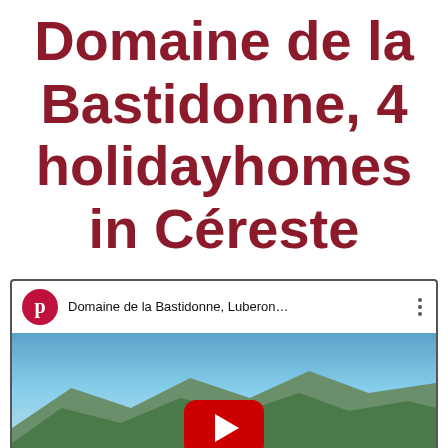Domaine de la Bastidonne, 4 holidayhomes in Céreste
[Figure (screenshot): YouTube video thumbnail showing 'Domaine de la Bastidonne, Luberon...' with a landscape of mountains, forest, and a pool. Includes a red YouTube play button overlay and a green WhatsApp chat button.]